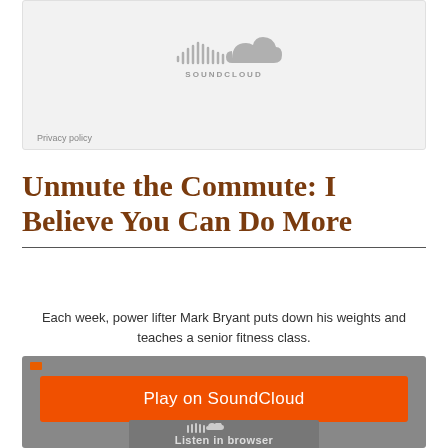[Figure (screenshot): SoundCloud embedded player widget with logo on gray background and Privacy policy link]
Unmute the Commute: I Believe You Can Do More
Each week, power lifter Mark Bryant puts down his weights and teaches a senior fitness class.
[Figure (screenshot): SoundCloud audio player with orange Play on SoundCloud button and Listen in browser bar on gray background]